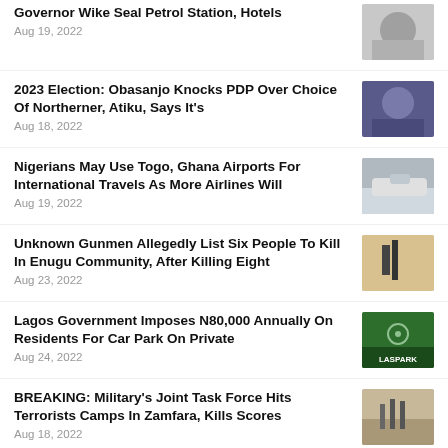Governor Wike Seal Petrol Station, Hotels
2023 Election: Obasanjo Knocks PDP Over Choice Of Northerner, Atiku, Says It's
Nigerians May Use Togo, Ghana Airports For International Travels As More Airlines Will
Unknown Gunmen Allegedly List Six People To Kill In Enugu Community, After Killing Eight
Lagos Government Imposes N80,000 Annually On Residents For Car Park On Private
BREAKING: Military's Joint Task Force Hits Terrorists Camps In Zamfara, Kills Scores